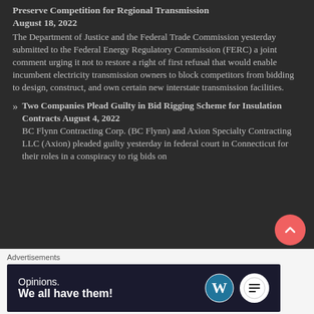Preserve Competition for Regional Transmission August 18, 2022
The Department of Justice and the Federal Trade Commission yesterday submitted to the Federal Energy Regulatory Commission (FERC) a joint comment urging it not to restore a right of first refusal that would enable incumbent electricity transmission owners to block competitors from bidding to design, construct, and own certain new interstate transmission facilities.
Two Companies Plead Guilty in Bid Rigging Scheme for Insulation Contracts August 4, 2022 BC Flynn Contracting Corp. (BC Flynn) and Axion Specialty Contracting LLC (Axion) pleaded guilty yesterday in federal court in Connecticut for their roles in a conspiracy to rig bids on
Advertisements
[Figure (infographic): Advertisement banner with dark blue background reading 'Opinions. We all have them!' with WordPress and HeroPress logos on the right.]